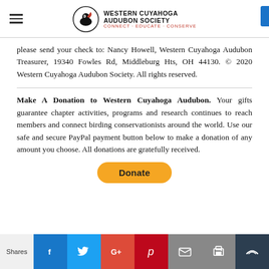Western Cuyahoga Audubon Society — Connect · Educate · Conserve
please send your check to: Nancy Howell, Western Cuyahoga Audubon Treasurer, 19340 Fowles Rd, Middleburg Hts, OH 44130. © 2020 Western Cuyahoga Audubon Society. All rights reserved.
Make A Donation to Western Cuyahoga Audubon. Your gifts guarantee chapter activities, programs and research continues to reach members and connect birding conservationists around the world. Use our safe and secure PayPal payment button below to make a donation of any amount you choose. All donations are gratefully received.
[Figure (other): Yellow PayPal Donate button]
Shares | Facebook | Twitter | Google+ | Pinterest | Email | Print | Crown